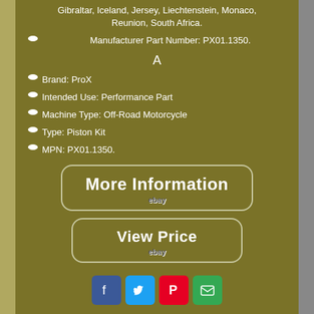Gibraltar, Iceland, Jersey, Liechtenstein, Monaco, Reunion, South Africa.
Manufacturer Part Number: PX01.1350.
A
Brand: ProX
Intended Use: Performance Part
Machine Type: Off-Road Motorcycle
Type: Piston Kit
MPN: PX01.1350.
[Figure (other): More Information button linking to eBay]
[Figure (other): View Price button linking to eBay]
[Figure (other): Social media sharing icons: Facebook, Twitter, Pinterest, Email]